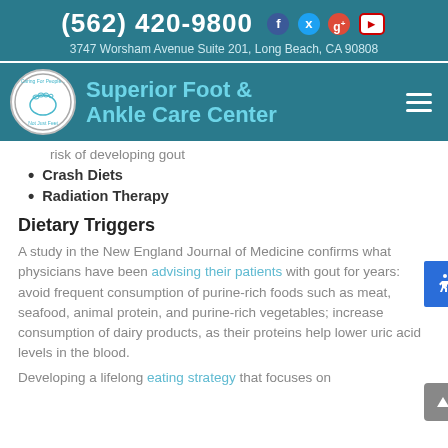(562) 420-9800  3747 Worsham Avenue Suite 201, Long Beach, CA 90808
[Figure (logo): Superior Foot & Ankle Care Center logo with circular emblem showing a foot and the text Caring For People, Not Just Feet]
risk of developing gout
Crash Diets
Radiation Therapy
Dietary Triggers
A study in the New England Journal of Medicine confirms what physicians have been advising their patients with gout for years: avoid frequent consumption of purine-rich foods such as meat, seafood, animal protein, and purine-rich vegetables; increase consumption of dairy products, as their proteins help lower uric acid levels in the blood.
Developing a lifelong eating strategy that focuses on